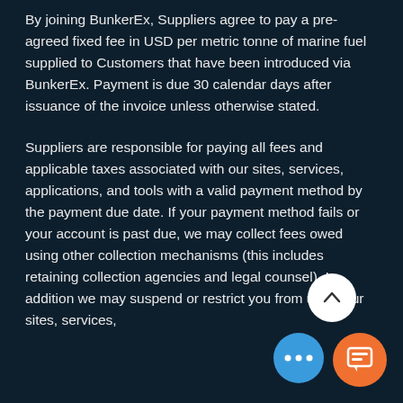By joining BunkerEx, Suppliers agree to pay a pre-agreed fixed fee in USD per metric tonne of marine fuel supplied to Customers that have been introduced via BunkerEx. Payment is due 30 calendar days after issuance of the invoice unless otherwise stated.
Suppliers are responsible for paying all fees and applicable taxes associated with our sites, services, applications, and tools with a valid payment method by the payment due date. If your payment method fails or your account is past due, we may collect fees owed using other collection mechanisms (this includes retaining collection agencies and legal counsel). In addition we may suspend or restrict you from using our sites, services,